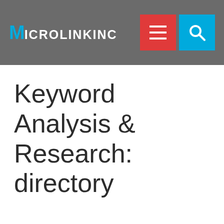MICROLINKINC
Keyword Analysis & Research: directory